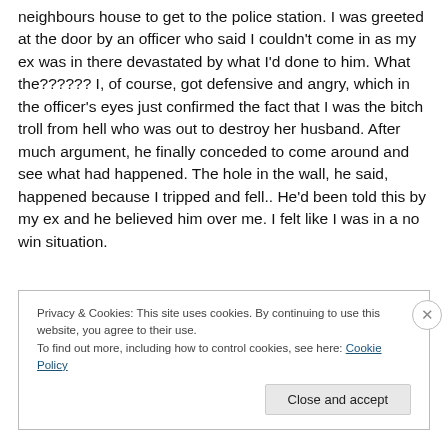neighbours house to get to the police station.  I was greeted at the door by an officer who said I couldn't come in as my ex was in there devastated by what I'd done to him. What the??????  I, of course, got defensive and angry, which in the officer's eyes just confirmed the fact that I was the bitch troll from hell who was out to destroy her husband.  After much argument, he finally conceded to come around and see what had happened.  The hole in the wall, he said, happened because I tripped and fell.. He'd been told this by my ex and he believed him over me. I felt like I was in a no win situation.
Privacy & Cookies: This site uses cookies. By continuing to use this website, you agree to their use.
To find out more, including how to control cookies, see here: Cookie Policy